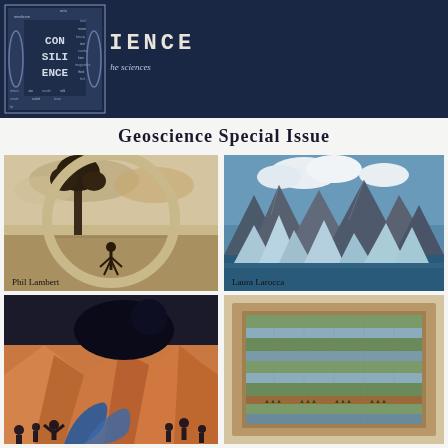[Figure (logo): Consilience journal logo: dark navy banner with decorative logo mark on left showing word collage inside ornamental frame, and journal title CONSILIENCE in monospace bold letters with subtitle 'Exploring the spaces where the sciences and the arts meet']
Geoscience Special Issue
[Figure (photo): Sepia-toned circular artwork by Phil Lambert showing landscape with tree silhouette and figure in open field with dramatic sky]
Phil Lambert
[Figure (illustration): Painting by Laura Larocca showing stylized mountains and icebergs in blues and grays against a sky with clouds, geometric art style]
Laura Larocca
[Figure (illustration): Surrealist painting showing orange geometric rocky formations with dark figures and blue liquid flowing, dramatic scene with human silhouettes]
[Figure (photo): Artwork showing a framed grid/textile piece with layered horizontal bands in green, blue and brown tones with small decorative tree motifs, framed in wood]